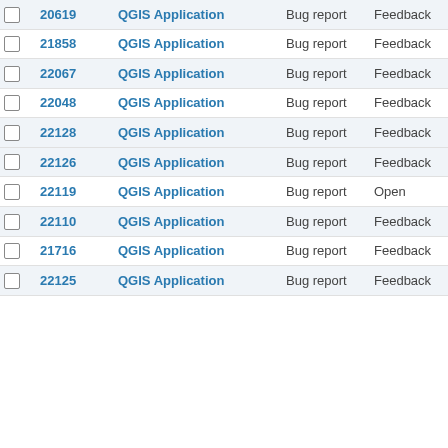|  | # | Project | Tracker | Status |  |
| --- | --- | --- | --- | --- | --- |
|  | 20619 | QGIS Application | Bug report | Feedback | H |
|  | 21858 | QGIS Application | Bug report | Feedback | H |
|  | 22067 | QGIS Application | Bug report | Feedback | H |
|  | 22048 | QGIS Application | Bug report | Feedback | H |
|  | 22128 | QGIS Application | Bug report | Feedback | H |
|  | 22126 | QGIS Application | Bug report | Feedback | H |
|  | 22119 | QGIS Application | Bug report | Open | H |
|  | 22110 | QGIS Application | Bug report | Feedback | H |
|  | 21716 | QGIS Application | Bug report | Feedback | H |
|  | 22125 | QGIS Application | Bug report | Feedback | H |